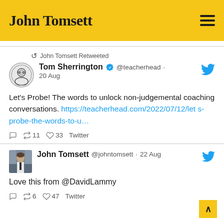John Tomsett
↺ John Tomsett Retweeted
Tom Sherrington ✓ @teacherhead · 20 Aug
Let's Probe! The words to unlock non-judgemental coaching conversations. https://teacherhead.com/2022/07/12/lets-probe-the-words-to-u…
◯ ↺ 11 ♡ 33 Twitter
John Tomsett @johntomsett · 22 Aug
Love this from @DavidLammy
◯ ↺ 6 ♡ 47 Twitter